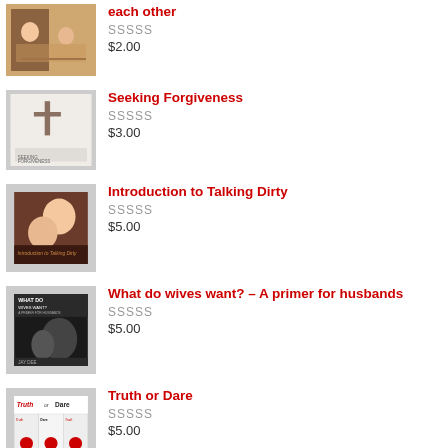[Figure (illustration): Book cover: couple sitting across table from each other]
each other
SSSSS
$2.00
[Figure (illustration): Book cover: Seeking Forgiveness - cross image]
Seeking Forgiveness
SSSSS
$3.00
[Figure (illustration): Book cover: Introduction to Talking Dirty]
Introduction to Talking Dirty
SSSSS
$5.00
[Figure (illustration): Book cover: What do wives want? - A primer for husbands by Jay Dee]
What do wives want? - A primer for husbands
SSSSS
$5.00
[Figure (illustration): Book cover: Truth or Dare]
Truth or Dare
SSSSS
$5.00